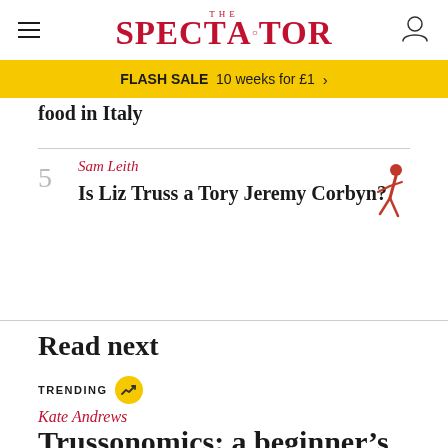THE SPECTATOR
FLASH SALE  10 weeks for £1 ›
food in Italy
5  Sam Leith  Is Liz Truss a Tory Jeremy Corbyn?
Read next
TRENDING
Kate Andrews
Trussonomics: a beginner's guide